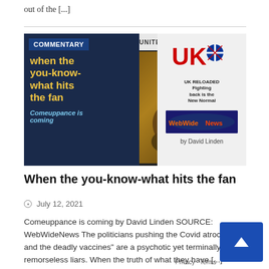out of the [...]
[Figure (screenshot): Article thumbnail image for 'When the you-know-what hits the fan'. Contains a dark left panel with 'COMMENTARY' badge, yellow title text 'when the you-know-what hits the fan', blue italic text 'Comeuppance is coming'. Center shows a historical revolutionary painting. Right panel shows UK Reloaded logo and WebWideNews logo with 'by David Linden'. Top ticker reads 'UNITE and WIN . . . UNITE and WIN . . . UN'.]
When the you-know-what hits the fan
July 12, 2021
Comeuppance is coming by David Linden SOURCE: WebWideNews The politicians pushing the Covid atrocity and the deadly vaccines” are a psychotic yet terminally dim remorseless liars. When the truth of what they have [...]